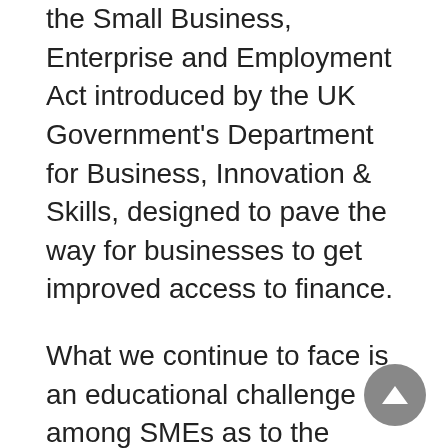the Small Business, Enterprise and Employment Act introduced by the UK Government's Department for Business, Innovation & Skills, designed to pave the way for businesses to get improved access to finance.
What we continue to face is an educational challenge among SMEs as to the alternative finance options available to them, prevalent given that 70% of SMEs seeking bank finance approach only one provider, and 90% stick with the provider of their current account.
While government needs big banks to succeed, the focus must be on how the banking community continues to respond to the changing requirements